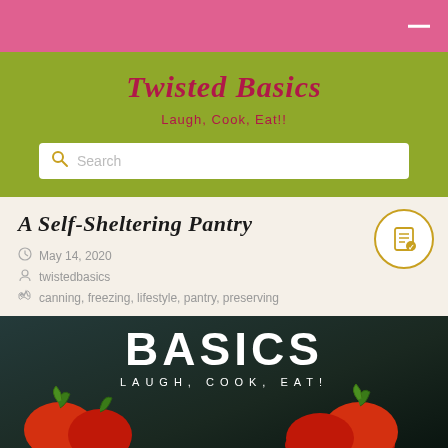Twisted Basics
Laugh, Cook, Eat!!
Search
A Self-Sheltering Pantry
May 14, 2020
twistedbasics
canning, freezing, lifestyle, pantry, preserving
[Figure (photo): Dark background image with 'BASICS' text in large white letters and 'LAUGH, COOK, EAT!' below, with red tomatoes in foreground]